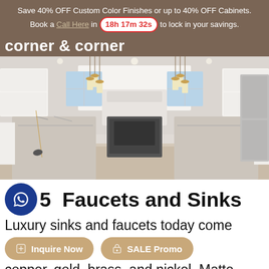Save 40% OFF Custom Color Finishes or up to 40% OFF Cabinets. Book a Call Here in 18h 17m 32s to lock in your savings.
5. Faucets and Sinks
[Figure (photo): Rendered 3D photo of a luxury kitchen with white shaker cabinets, marble-look island countertops, gold pendant lights, stainless steel appliances, and light wood flooring.]
Luxury sinks and faucets today come in many finishes incl
copper, gold, brass, and nickel. Matte